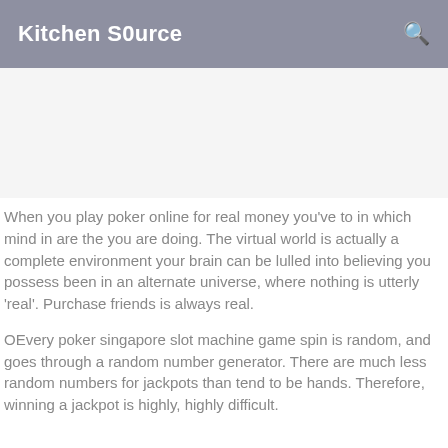Kitchen S0urce
[Figure (other): Advertisement banner area (blank/grey)]
When you play poker online for real money you've to in which mind in are the you are doing. The virtual world is actually a complete environment your brain can be lulled into believing you possess been in an alternate universe, where nothing is utterly 'real'. Purchase friends is always real.
OEvery poker singapore slot machine game spin is random, and goes through a random number generator. There are much less random numbers for jackpots than tend to be hands. Therefore, winning a jackpot is highly, highly difficult.